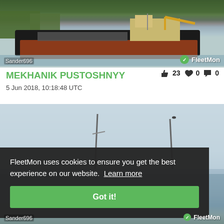[Figure (photo): Cargo ship MEKHANIK PUSTOSHNYY on water with green trees in background, watermarked with 'Sander696' and FleetMon logo]
MEKHANIK PUSTOSHNYY
👍 23   ❤ 0   💬 0
5 Jun 2018, 10:18:48 UTC
[Figure (photo): Second photo of ship masts visible above waterline with cookie consent banner overlay]
FleetMon uses cookies to ensure you get the best experience on our website. Learn more
Got it!